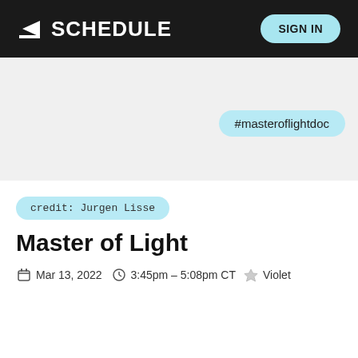◤ SCHEDULE   SIGN IN
[Figure (screenshot): Hero image area with light gray background]
#masteroflightdoc
credit: Jurgen Lisse
Master of Light
Mar 13, 2022   3:45pm – 5:08pm CT   Violet